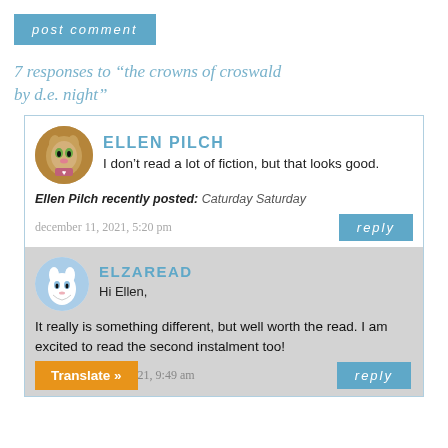post comment
7 responses to “the crowns of croswald by d.e. night”
ELLEN PILCH
I don’t read a lot of fiction, but that looks good.
Ellen Pilch recently posted: Caturday Saturday
december 11, 2021, 5:20 pm
reply
ELZAREAD
Hi Ellen,
It really is something different, but well worth the read. I am excited to read the second instalment too!
Translate »
21, 9:49 am
reply